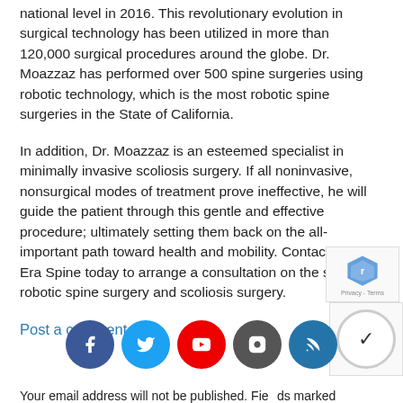national level in 2016. This revolutionary evolution in surgical technology has been utilized in more than 120,000 surgical procedures around the globe. Dr. Moazzaz has performed over 500 spine surgeries using robotic technology, which is the most robotic spine surgeries in the State of California.
In addition, Dr. Moazzaz is an esteemed specialist in minimally invasive scoliosis surgery. If all noninvasive, nonsurgical modes of treatment prove ineffective, he will guide the patient through this gentle and effective procedure; ultimately setting them back on the all-important path toward health and mobility. Contact New Era Spine today to arrange a consultation on the subject of robotic spine surgery and scoliosis surgery.
Post a comment
[Figure (other): Social media icon buttons: Facebook, Twitter, YouTube, Instagram, RSS feed]
Your email address will not be published. Fields marked